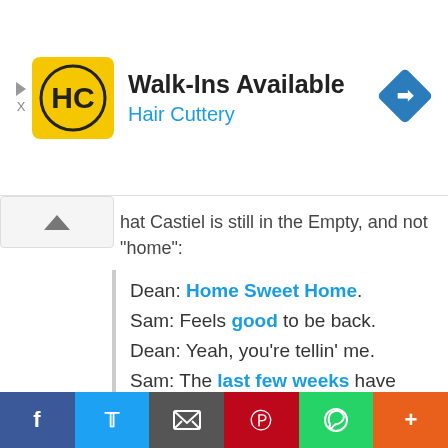[Figure (screenshot): Hair Cuttery advertisement banner with logo, 'Walk-Ins Available' text, 'Hair Cuttery' subtitle in blue, and a blue navigation arrow icon on the right.]
hat Castiel is still in the Empty, and not “home”:
Dean: Home Sweet Home. Sam: Feels good to be back. Dean: Yeah, you're tellin' me. Sam: The last few weeks have been a nightmare. Dean: You know what? We made it, though. You, me, and the kid, finally under one roof. Sam: And, you know, honestly, It
[Figure (screenshot): Social sharing bar with Facebook, Twitter, Email, Pinterest, WhatsApp, and More buttons.]